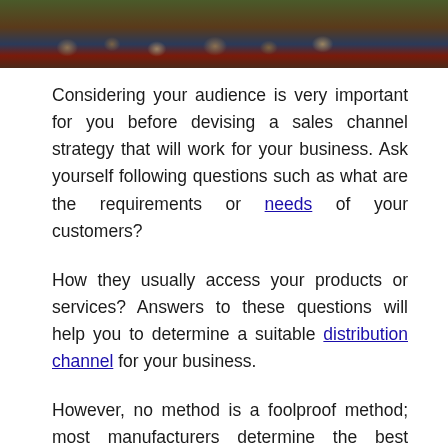[Figure (photo): Top portion of an image showing a market or shop scene with produce/goods and people, partially cropped]
Considering your audience is very important for you before devising a sales channel strategy that will work for your business. Ask yourself following questions such as what are the requirements or needs of your customers?
How they usually access your products or services? Answers to these questions will help you to determine a suitable distribution channel for your business.
However, no method is a foolproof method; most manufacturers determine the best channel for them through trial and error method.